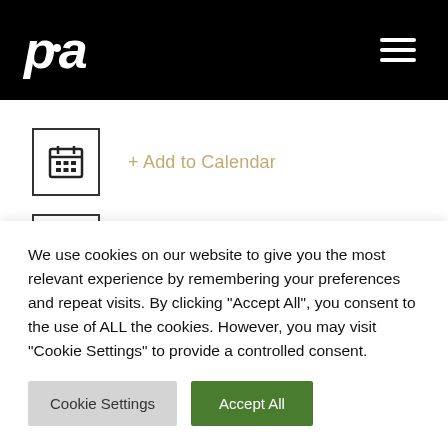pia
+ Add to Calendar
Share this event
CPD CREDITS:
We use cookies on our website to give you the most relevant experience by remembering your preferences and repeat visits. By clicking "Accept All", you consent to the use of ALL the cookies. However, you may visit "Cookie Settings" to provide a controlled consent.
Cookie Settings | Accept All